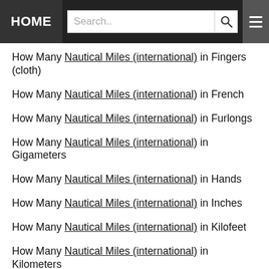HOME | Search..
How Many Nautical Miles (international) in Fingers (cloth)
How Many Nautical Miles (international) in French
How Many Nautical Miles (international) in Furlongs
How Many Nautical Miles (international) in Gigameters
How Many Nautical Miles (international) in Hands
How Many Nautical Miles (international) in Inches
How Many Nautical Miles (international) in Kilofeet
How Many Nautical Miles (international) in Kilometers
How Many Nautical Miles (international) in Leagues
How Many Nautical Miles (international) in Leagues (land)